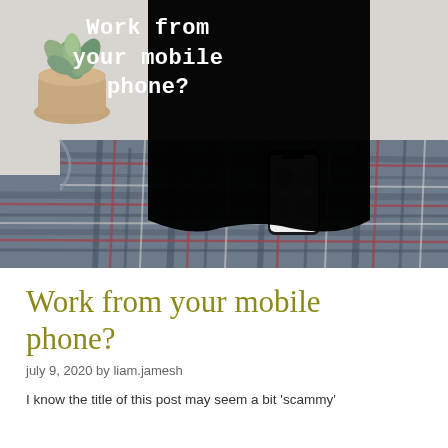[Figure (photo): Hero image showing a plaid flannel shirt spread on a light surface with a small succulent plant in a pot (top-left) and a smartphone placed on the shirt (center-right). Over the image is a black speech-bubble shaped card with white monospace text reading 'Work from your mobile phone?']
Work from your mobile phone?
july 9, 2020 by liam.jamesh
I know the title of this post may seem a bit 'scammy'